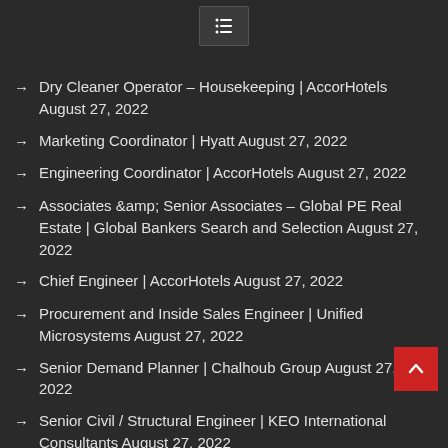Menu icon / navigation header
(partial text visible at top)
Dry Cleaner Operator – Housekeeping | AccorHotels August 27, 2022
Marketing Coordinator | Hyatt August 27, 2022
Engineering Coordinator | AccorHotels August 27, 2022
Associates &amp; Senior Associates – Global PE Real Estate | Global Bankers Search and Selection August 27, 2022
Chief Engineer | AccorHotels August 27, 2022
Procurement and Inside Sales Engineer | Unified Microsystems August 27, 2022
Senior Demand Planner | Chalhoub Group August 27, 2022
Senior Civil / Structural Engineer | KEO International Consultants August 27, 2022